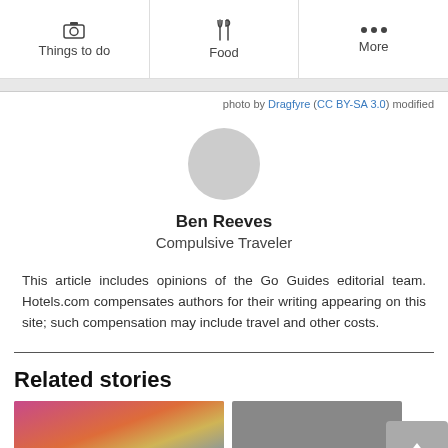Things to do | Food | More
photo by Dragfyre (CC BY-SA 3.0) modified
[Figure (photo): Circular grey avatar placeholder for Ben Reeves]
Ben Reeves
Compulsive Traveler
This article includes opinions of the Go Guides editorial team. Hotels.com compensates authors for their writing appearing on this site; such compensation may include travel and other costs.
Related stories
[Figure (photo): Colorful market tent photo thumbnail]
[Figure (photo): Second related story thumbnail (partially visible)]